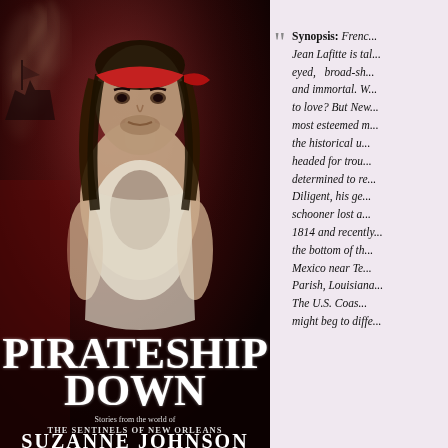[Figure (illustration): Book cover for 'Pirateship Down' by Suzanne Johnson. Shows a dark, brooding pirate man with long dark hair, red bandana, open white shirt, against a smoky red and dark background with ship silhouettes. Title 'PIRATESHIP DOWN' in large white serif font, subtitle 'Stories from the world of THE SENTINELS OF NEW ORLEANS', author name 'SUZANNE JOHNSON' at bottom.]
Synopsis: French... Jean Lafitte is tall, dark-eyed, broad-sh... and immortal. W... to love? But New... most esteemed m... the historical u... headed for troub... determined to re... Diligent, his ge... schooner lost a... 1814 and recently... the bottom of th... Mexico near Te... Parish, Louisiana... The U.S. Coas... might beg to diffe...